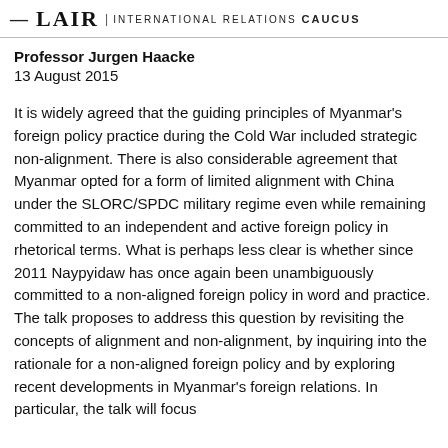— LAIR | INTERNATIONAL RELATIONS CAUCUS
Professor Jurgen Haacke
13 August 2015
It is widely agreed that the guiding principles of Myanmar's foreign policy practice during the Cold War included strategic non-alignment. There is also considerable agreement that Myanmar opted for a form of limited alignment with China under the SLORC/SPDC military regime even while remaining committed to an independent and active foreign policy in rhetorical terms. What is perhaps less clear is whether since 2011 Naypyidaw has once again been unambiguously committed to a non-aligned foreign policy in word and practice. The talk proposes to address this question by revisiting the concepts of alignment and non-alignment, by inquiring into the rationale for a non-aligned foreign policy and by exploring recent developments in Myanmar's foreign relations. In particular, the talk will focus